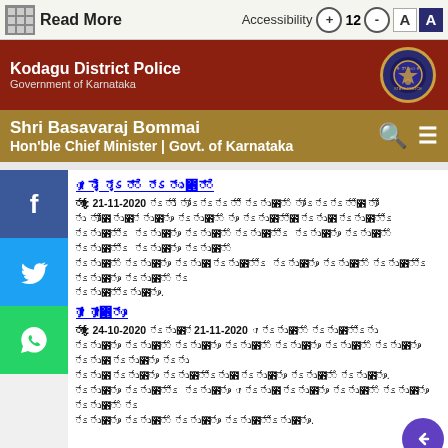Read More | Accessibility + 12 - A A
[Figure (logo): Kodagu District Police – Government of Karnataka header with emblem]
Shri Basavaraj Bommai
Hon'ble Chief Minister | Govt. of Karnataka
[Figure (other): Facebook social share button]
[Figure (other): Twitter social share button]
[Figure (other): WhatsApp social share button]
ಈ ಅವಧಿ ಅಪರಾಧ ಪ್ರಕರಣ
ದಿನಾಂಕ: 21-11-2020 ರಂದು ತಾಲ್ಲೂಕುವಾರು ಅಪರಾಧ ಪ್ರಕರಣಗಳ ವಿವರ ಈ ಕೆಳಗಿನಂತಿದೆ. ವಿವಿಧ ಅಪರಾಧ ಪ್ರಕರಣಗಳ ಮ ನ್ನಡೆಯ ಬಗ್ಗೆ ಮಾಹಿತಿ ನೀಡಿ ಅಧಿಕಾರಿಗಳ ಗಮನಕ್ಕೆ ತಂದು ಅಗತ್ಯ ಕ್ರಮ ಕೈಗೊಳ್ಳಲು ಸೂಚಿಸಲಾಯಿತು. ತಾಲ್ಲೂಕು ಪೊಲೀಸ್ ಠಾಣೆ ವ್ಯಾಪ್ತಿಯ ಅಪರಾಧ ಪ್ರಕರಣಗಳ ಬಗ್ಗೆ ಅಧಿಕಾರಿಗಳಿಗೆ ಮಾಹಿತಿ ನೀಡಿ ಪರಿಶೀಲಿಸಲಾಯಿತು ಮತ್ತು ಅಗತ್ಯ ಕ್ರಮ ಕೈಗೊಳ್ಳಲು ಸೂಚಿಸಲಾಯಿತು.
ಕಾನೂ ಕಾರ್ಯಾಚರಣ
ದಿನಾಂಕ: 24-10-2020 ರಿಂದ 21-11-2020 ರ ಅವಧಿಯ ಕಾನೂನು ಕಾರ್ಯಾಚರಣದ ವಿವರ ಈ ಕೆಳಗಿನಂತಿದೆ. ವಿವಿಧ ಅಪರಾಧ ಪ್ರಕರಣಗಳ ಮನ್ನಡೆ ಬಗ್ಗೆ ಮಾಹಿತಿ ನೀಡಿ ಅಧಿಕಾರಿಗಳ ಗಮನಕ್ಕೆ ತಂದು ಅಗತ್ಯ ಕ್ರಮ ಕೈಗೊಳ್ಳಲು ಸೂಚಿಸಲಾಯಿತು. ಕಾನೂನು ಕಾರ್ಯಾಚರಣ ಮತ್ತು ತಾಲ್ಲೂಕು ೨ ರಲ್ಲಿ ಭಾಗಿ ತಾಗಿ ಅಧಿಕಾರಿಗಳ ಸಮಕ್ಷ ಮಂಡಿಸಲಾಯಿತು ಮತ್ತು ಅಗತ್ಯ ಕ್ರಮ ಕೈಗೊಳ್ಳಲಾಯಿತು.